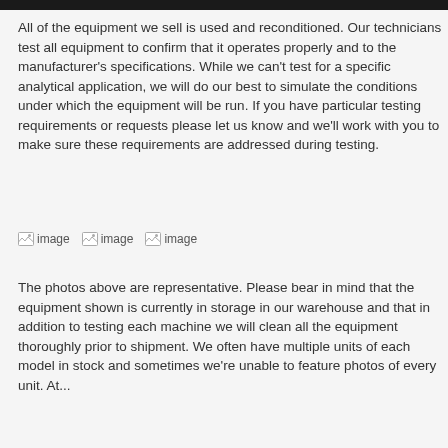All of the equipment we sell is used and reconditioned. Our technicians test all equipment to confirm that it operates properly and to the manufacturer's specifications. While we can't test for a specific analytical application, we will do our best to simulate the conditions under which the equipment will be run. If you have particular testing requirements or requests please let us know and we'll work with you to make sure these requirements are addressed during testing.
[Figure (photo): Three broken/placeholder images shown as image icons with alt text 'image']
The photos above are representative. Please bear in mind that the equipment shown is currently in storage in our warehouse and that in addition to testing each machine we will clean all the equipment thoroughly prior to shipment. We often have multiple units of each model in stock and sometimes we're unable to feature photos of every unit. At...